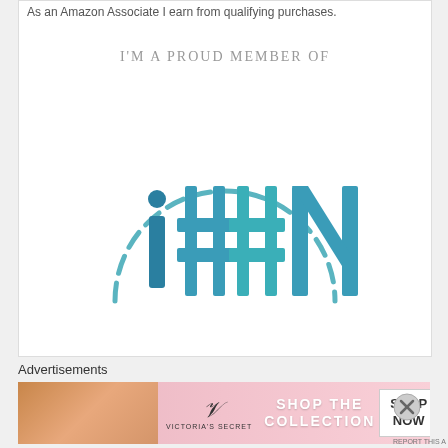As an Amazon Associate I earn from qualifying purchases.
I'm a proud member of
[Figure (logo): i##N logo with dashed semicircle arc above, teal/blue colored letters i, ##, N]
Advertisements
[Figure (photo): Victoria's Secret advertisement banner - Shop The Collection - Shop Now button]